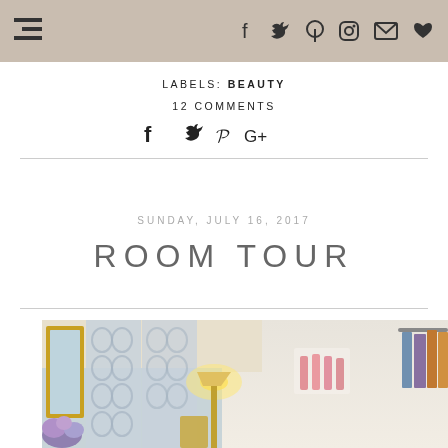Navigation bar with menu icon and social icons (Facebook, Twitter, Pinterest, Instagram, Email, Heart)
LABELS: BEAUTY
12 COMMENTS
f  ❧  p  G+
SUNDAY, JULY 16, 2017
ROOM TOUR
[Figure (photo): Interior room photo showing a mirror with gold frame, sheer patterned curtains, a floor lamp, wall-mounted lipstick display, clothing rack with colorful clothes, and purple flowers in the foreground.]